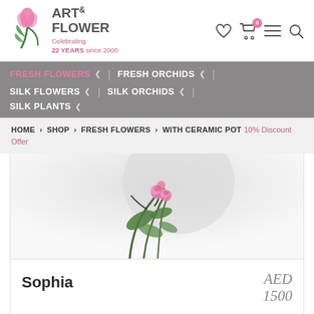[Figure (logo): Art & Flower logo with tulip/flower graphic, text 'ART& FLOWER Celebrating 22 YEARS since 2000']
[Figure (infographic): Header icons: heart/wishlist, shopping cart with badge '0', hamburger menu, search icon]
FRESH FLOWERS ∨ | FRESH ORCHIDS ∨ |
SILK FLOWERS ∨ | SILK ORCHIDS ∨ |
SILK PLANTS ∨
HOME › SHOP › FRESH FLOWERS › WITH CERAMIC POT 10% Discount Offer
[Figure (photo): Partial view of a floral arrangement with pink roses and green foliage in a white ceramic pot, partially cropped at top of product card]
Sophia
AED 1500